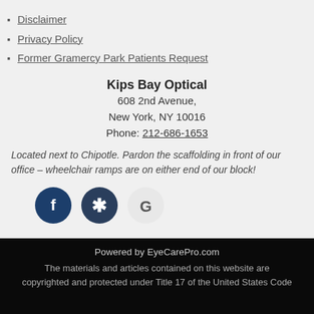Disclaimer
Privacy Policy
Former Gramercy Park Patients Request
Kips Bay Optical
608 2nd Avenue,
New York, NY 10016
Phone: 212-686-1653
Located next to Chipotle. Pardon the scaffolding in front of our office – wheelchair ramps are on either end of our block!
[Figure (other): Social media icon buttons: Facebook (dark blue circle with f), Yelp (dark blue circle with asterisk/flower), Google (light grey circle with G)]
Powered by EyeCarePro.com
The materials and articles contained on this website are copyrighted and protected under Title 17 of the United States Code